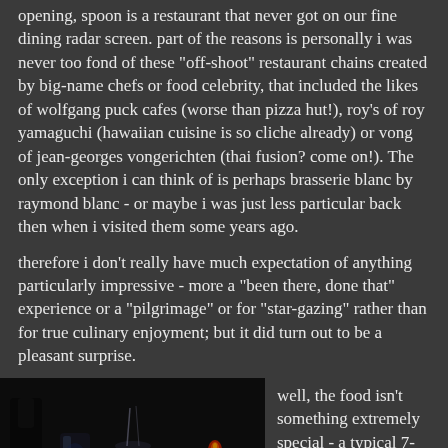opening, spoon is a restaurant that never got on our fine dining radar screen. part of the reasons is personally i was never too fond of these "off-shoot" restaurant chains created by big-name chefs or food celebrity, that included the likes of wolfgang puck cafes (worse than pizza hut!), roy's of roy yamaguchi (hawaiian cuisine is so cliche already) or vong of jean-georges vongerichten (thai fusion? come on!). The only exception i can think of is perhaps brasserie blanc by raymond blanc - or maybe i was just less particular back then when i visited them some years ago.
therefore i don't really have much expectation of anything particularly impressive - more a "been there, done that" experience or a "pilgrimage" or for "star-gazing" rather than for true culinary enjoyment; but it did turn out to be a pleasant surprise.
[Figure (photo): Dark atmospheric restaurant photo showing glasses and candles on a table, with blue lighting accents and a red candle flame visible in a dim setting.]
well, the food isn't something extremely special - a typical 7-course french